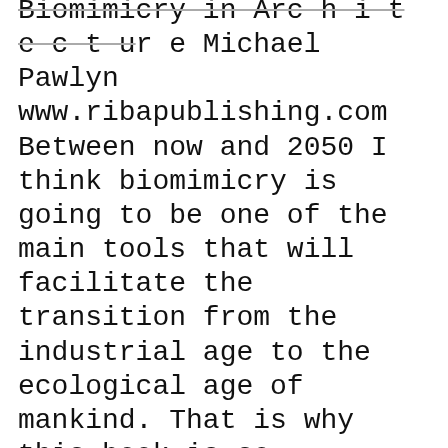Biomimicry in Architecture Michael Pawlyn www.ribapublishing.com Between now and 2050 I think biomimicry is going to be one of the main tools that will facilitate the transition from the industrial age to the ecological age of mankind. That is why this book is so important.
The latest Tweets from Michael Pawlyn (@MichaelPawlyn). Michael Pawlyn. Architect. Founder of Exploration Architecture. Thought leader in biomimicry. Regular keynote speaker. Author of вЂ‹Biomimicry in ArchitecturevЂ™. London, England Biomimicry-in-architecture Free